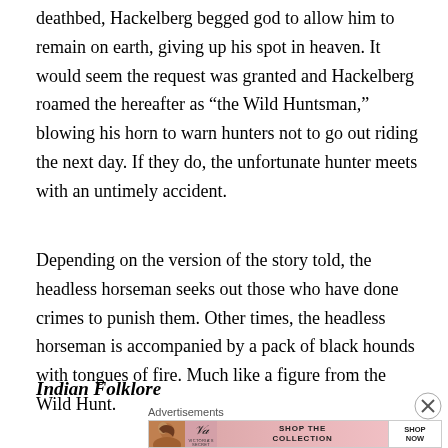deathbed, Hackelberg begged god to allow him to remain on earth, giving up his spot in heaven. It would seem the request was granted and Hackelberg roamed the hereafter as “the Wild Huntsman,” blowing his horn to warn hunters not to go out riding the next day. If they do, the unfortunate hunter meets with an untimely accident.
Depending on the version of the story told, the headless horseman seeks out those who have done crimes to punish them. Other times, the headless horseman is accompanied by a pack of black hounds with tongues of fire. Much like a figure from the Wild Hunt.
Indian Folklore
Advertisements
[Figure (other): Victoria's Secret advertisement banner with pink background showing a woman and text SHOP THE COLLECTION with SHOP NOW button]